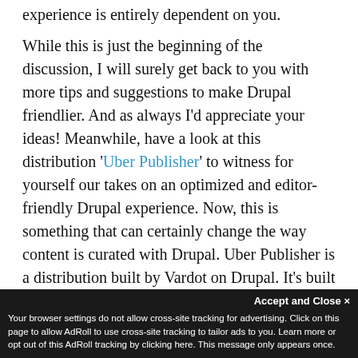experience is entirely dependent on you.
While this is just the beginning of the discussion, I will surely get back to you with more tips and suggestions to make Drupal friendlier. And as always I'd appreciate your ideas! Meanwhile, have a look at this distribution 'Uber Publisher' to witness for yourself our takes on an optimized and editor-friendly Drupal experience. Now, this is something that can certainly change the way content is curated with Drupal. Uber Publisher is a distribution built by Vardot on Drupal. It's built a tight-knit set of modules and configurations
We use cookies and other identifiers to help improve your online experience. By using our website you agree to this. To learn more, including how to change your settings, see our Privacy Policy.
Accept and Close ✕
Your browser settings do not allow cross-site tracking for advertising. Click on this page to allow AdRoll to use cross-site tracking to tailor ads to you. Learn more or opt out of this AdRoll tracking by clicking here. This message only appears once.